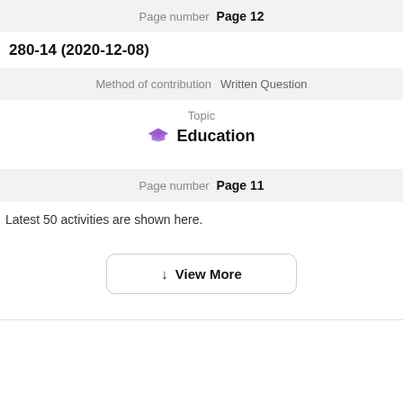Page number   Page 12
280-14 (2020-12-08)
Method of contribution   Written Question
Topic
Education
Page number   Page 11
Latest 50 activities are shown here.
↓  View More